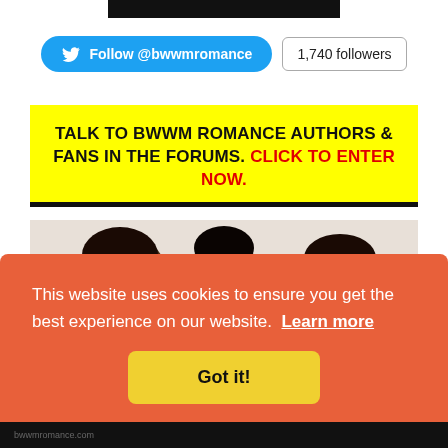[Figure (screenshot): Top dark image strip (cropped screenshot element)]
[Figure (screenshot): Twitter Follow @bwwmromance button with 1,740 followers counter]
TALK TO BWWM ROMANCE AUTHORS & FANS IN THE FORUMS. CLICK TO ENTER NOW.
[Figure (photo): Three women laughing together, photo background for the BWWM forum banner]
This website uses cookies to ensure you get the best experience on our website. Learn more
Got it!